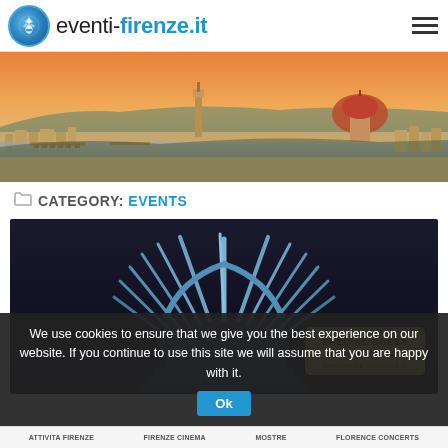eventi-firenze.it
[Figure (photo): Panoramic aerial view of Florence (Firenze), Italy at sunset, showing the Ponte Vecchio, the Arno river, and the Florence Cathedral (Duomo) with its iconic dome in the background.]
CATEGORY: EVENTS
[Figure (photo): Dark promotional image featuring the Iron Throne from Game of Thrones. A badge in the lower right reads 'SPECIAL GUEST DANIELE GIULIANI DOPPIATORE UFFICIALE DI'.]
We use cookies to ensure that we give you the best experience on our website. If you continue to use this site we will assume that you are happy with it.
ATTIVITA FIRENZE   FIRENZE CINEMA   MOSTRE   FLORENCE CONCERTS